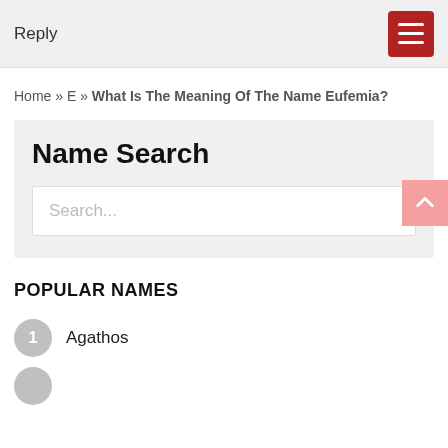Reply
Home » E » What Is The Meaning Of The Name Eufemia?
Name Search
Search...
POPULAR NAMES
1 Agathos